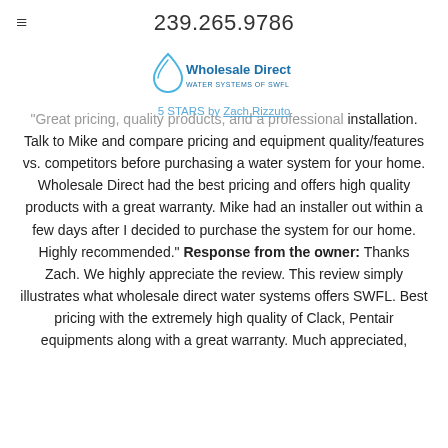239.265.9786
[Figure (logo): Wholesale Direct Water Systems logo with blue water drop icon and blue text]
5 STARS by Zach Rizzuto
"Great pricing, quality products, and a professional installation. Talk to Mike and compare pricing and equipment quality/features vs. competitors before purchasing a water system for your home. Wholesale Direct had the best pricing and offers high quality products with a great warranty. Mike had an installer out within a few days after I decided to purchase the system for our home. Highly recommended." Response from the owner: Thanks Zach. We highly appreciate the review. This review simply illustrates what wholesale direct water systems offers SWFL. Best pricing with the extremely high quality of Clack, Pentair equipments along with a great warranty. Much appreciated,